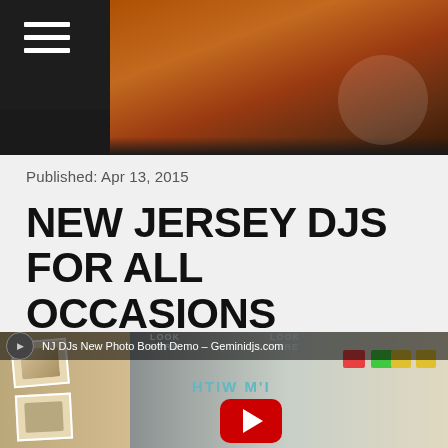[Figure (photo): Dark event/party photo with orange lighting and crowd, with a hamburger menu icon in a dark overlay top-left corner]
Published: Apr 13, 2015
NEW JERSEY DJS FOR ALL OCCASIONS
[Figure (screenshot): YouTube video thumbnail showing NJ DJs New Photo Booth Demo - Geminidjs.com, with people in photo booth strips on left, photo booth machine on right with colorful buttons, mirrored text 'I'M WITH' on the machine, and a YouTube play button overlay in center]